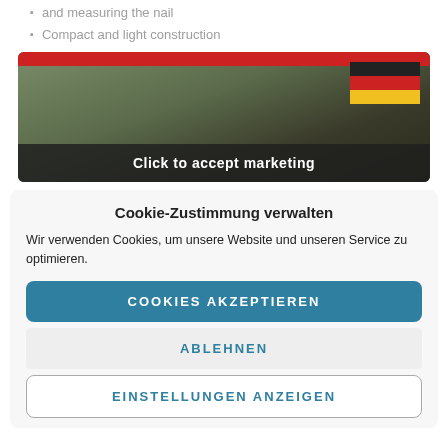and measuring the nail
Compact and light construction
[Figure (screenshot): Video thumbnail with German flag in top-right corner and dark overlay bar showing 'Click to accept marketing' text]
Cookie-Zustimmung verwalten
Wir verwenden Cookies, um unsere Website und unseren Service zu optimieren.
COOKIES AKZEPTIEREN
ABLEHNEN
EINSTELLUNGEN ANZEIGEN